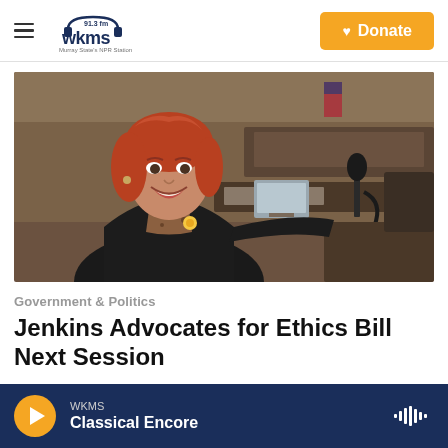WKMS 91.3 fm - Murray State's NPR Station
[Figure (photo): A smiling woman with red hair wearing a black blazer with a yellow pin, standing in what appears to be a legislative chamber with wooden desks and equipment.]
Government & Politics
Jenkins Advocates for Ethics Bill Next Session
WKMS Classical Encore — audio player bar